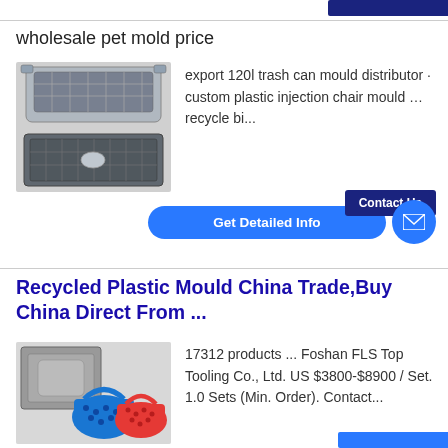wholesale pet mold price
[Figure (photo): Photo of injection molded car parts including grille and bumper components]
export 120l trash can mould distributor · custom plastic injection chair mould … recycle bi...
Get Detailed Info
Contact Us
Recycled Plastic Mould China Trade,Buy China Direct From ...
[Figure (photo): Photo of plastic injection mould products including colorful baskets]
17312 products ... Foshan FLS Top Tooling Co., Ltd. US $3800-$8900 / Set. 1.0 Sets (Min. Order). Contact...